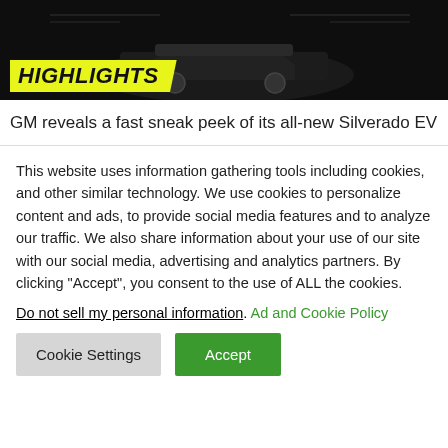[Figure (photo): Dark banner image showing a car (Silverado EV) with a yellow 'HIGHLIGHTS' badge in the bottom-left corner]
GM reveals a fast sneak peek of its all-new Silverado EV
This website uses information gathering tools including cookies, and other similar technology. We use cookies to personalize content and ads, to provide social media features and to analyze our traffic. We also share information about your use of our site with our social media, advertising and analytics partners. By clicking "Accept", you consent to the use of ALL the cookies.
Do not sell my personal information. Ad and Cookie Policy
Cookie Settings  Accept